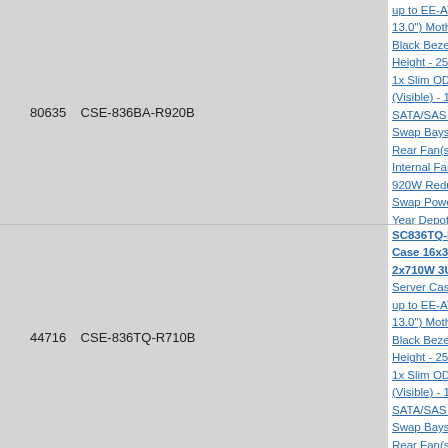80635    CSE-836BA-R920B
up to EE-ATX (13.0") Motherboard - Black Bezel - Height - 25.5" - 1x Slim ODD (Visible) - 16x SATA/SAS LH Swap Bays - Rear Fan(s) - Internal Fan(s) - 920W Redundant Swap Power - 3 Year Depot On-site Mfg. Warranty
44716    CSE-836TQ-R710B
SC836TQ-R7... Case 16x3.5" 2x710W 3U Rack Server Case - up to EE-ATX (13.0") Motherboard - Black Bezel - Height - 25.5" - 1x Slim ODD (Visible) - 16x SATA/SAS LH Swap Bays - Rear Fan(s) - Internal Fan(s) - 710W DC Redundant Hot-Swap Power - 1 Year Depot On-site Mfg. Warranty